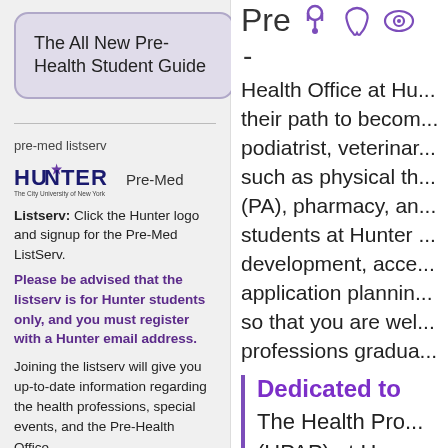The All New Pre-Health Student Guide
pre-med listserv
[Figure (logo): Hunter College Pre-Med logo with text 'HUNTER The City University of New York' and 'Pre-Med']
Listserv: Click the Hunter logo and signup for the Pre-Med ListServ. Please be advised that the listserv is for Hunter students only, and you must register with a Hunter email address.
Joining the listserv will give you up-to-date information regarding the health professions, special events, and the Pre-Health Office.
[Figure (infographic): Pre-Health icons: stethoscope, tooth, eye]
Pre -
Health Office at Hu... their path to becom... podiatrist, veterina... such as physical th... (PA), pharmacy, an... students at Hunter... development, acce... application plannin... so that you are wel... professions gradua...
Dedicated to
The Health Pro... (HPAP) at Hun... competitive pr...